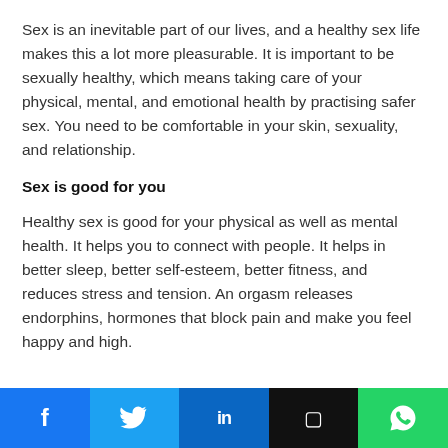Sex is an inevitable part of our lives, and a healthy sex life makes this a lot more pleasurable. It is important to be sexually healthy, which means taking care of your physical, mental, and emotional health by practising safer sex. You need to be comfortable in your skin, sexuality, and relationship.
Sex is good for you
Healthy sex is good for your physical as well as mental health. It helps you to connect with people. It helps in better sleep, better self-esteem, better fitness, and reduces stress and tension. An orgasm releases endorphins, hormones that block pain and make you feel happy and high.
[Figure (infographic): Social media sharing bar with Facebook, Twitter, LinkedIn, bookmark, and WhatsApp buttons]